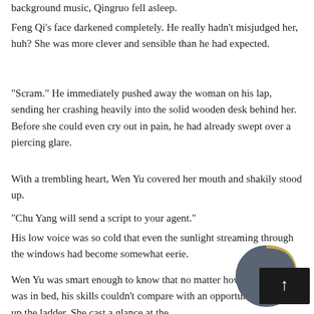background music, Qingruo fell asleep.
Feng Qi's face darkened completely. He really hadn't misjudged her, huh? She was more clever and sensible than he had expected.
“Scram.” He immediately pushed away the woman on his lap, sending her crashing heavily into the solid wooden desk behind her. Before she could even cry out in pain, he had already swept over a piercing glare.
With a trembling heart, Wen Yu covered her mouth and shakily stood up.
“Chu Yang will send a script to your agent.”
His low voice was so cold that even the sunlight streaming through the windows had become somewhat eerie.
Wen Yu was smart enough to know that no matter how good Feng Qi was in bed, his skills couldn’t compare with an opportunity to climb up the ladder. She cast a glance at the
[Figure (illustration): A circular moon/planet icon partially overlapping a dark rectangular scroll-to-top button with an upward arrow]